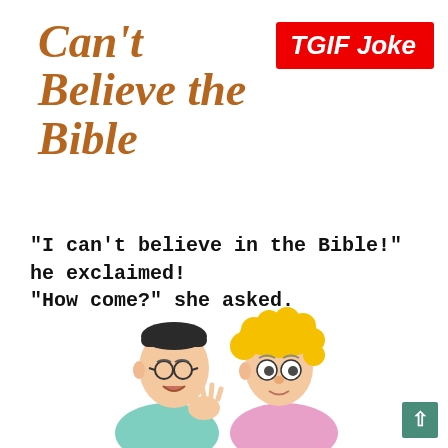Can't Believe the Bible
TGIF Joke
"I can't believe in the Bible!" he exclaimed! "How come?" she asked.
[Figure (illustration): Cartoon of two people: a man with glasses and dark hair in a teal shirt gesturing with his hand, and a woman with curly blonde hair in a pink top looking at him with wide eyes.]